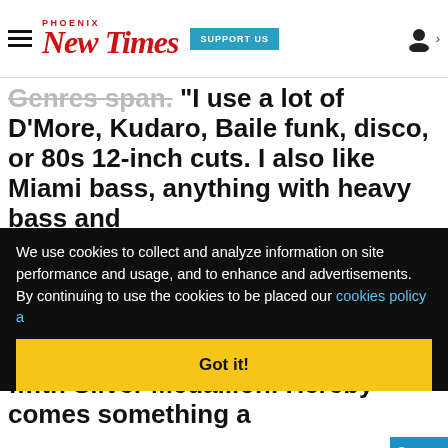Phoenix New Times | SUPPORT US
Genres span. "I use a lot of D'More, Kaduro, Baile funk, disco, or 80s 12-inch cuts. I also like Miami bass, anything with heavy bass and
We use cookies to collect and analyze information on site performance and usage, and to enhance and advertisements. By continuing to use the cookies to be placed our cookies policy a
[Figure (screenshot): Sponsored Content - D-backs vs. Padre... video thumbnail showing Arizona Diamondbacks and San Diego Padres logos with a mute button overlay]
Got it!
ith Silver Medallion. Hereby comes something a